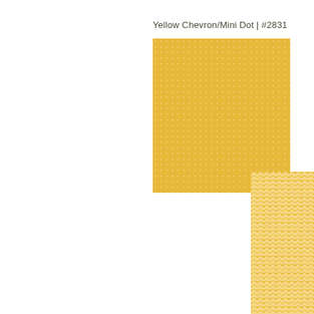Yellow Chevron/Mini Dot | #2831
[Figure (illustration): Large square swatch of yellow fabric with mini dot (small white dots on yellow background) pattern]
[Figure (illustration): Smaller square swatch of yellow fabric with chevron (zig-zag) pattern, overlapping the mini dot swatch at bottom right]